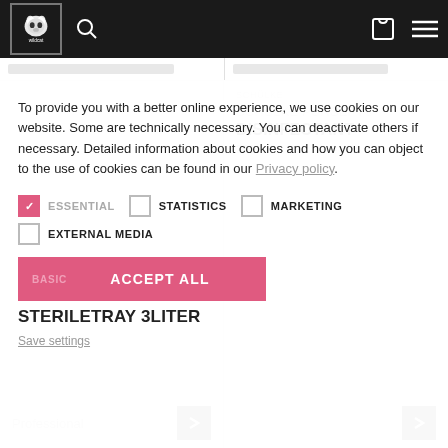[Figure (logo): Wildcat logo in nav bar - tiger head in bordered box on dark background with search, cart, and menu icons]
To provide you with a better online experience, we use cookies on our website. Some are technically necessary. You can deactivate others if necessary. Detailed information about cookies and how you can object to the use of cookies can be found in our Privacy policy.
ESSENTIAL (checked) | STATISTICS (unchecked) | MARKETING (unchecked) | EXTERNAL MEDIA (unchecked)
BASIC | ACCEPT ALL
STERILETRAY 3LITER
Save settings
SCHÜLKE
SCHÜLKE PURSEPT® DISINFECTANT
2301
Professional